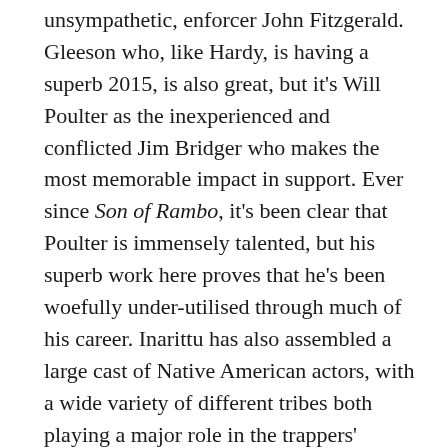unsympathetic, enforcer John Fitzgerald. Gleeson who, like Hardy, is having a superb 2015, is also great, but it's Will Poulter as the inexperienced and conflicted Jim Bridger who makes the most memorable impact in support. Ever since Son of Rambo, it's been clear that Poulter is immensely talented, but his superb work here proves that he's been woefully under-utilised through much of his career. Inarittu has also assembled a large cast of Native American actors, with a wide variety of different tribes both playing a major role in the trappers' stories and headlining the film's third plot of a chief searching for his missing daughter.
Even with some of cinema's best stars in front of the